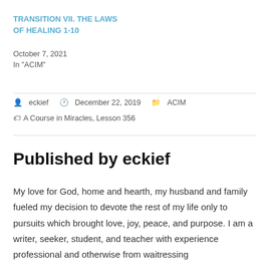TRANSITION VII. THE LAWS OF HEALING 1-10
October 7, 2021
In "ACIM"
eckief   December 22, 2019   ACIM
A Course in Miracles, Lesson 356
Published by eckief
My love for God, home and hearth, my husband and family fueled my decision to devote the rest of my life only to pursuits which brought love, joy, peace, and purpose. I am a writer, seeker, student, and teacher with experience professional and otherwise from waitressing